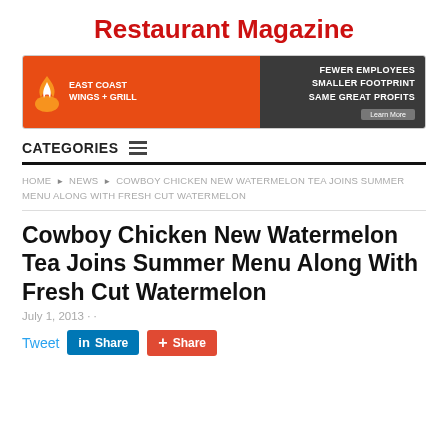Restaurant Magazine
[Figure (infographic): East Coast Wings + Grill advertisement banner. Left side is orange with flame logo and brand name. Right side is dark with text: FEWER EMPLOYEES, SMALLER FOOTPRINT, SAME GREAT PROFITS, Learn More button.]
CATEGORIES
HOME ► NEWS ► COWBOY CHICKEN NEW WATERMELON TEA JOINS SUMMER MENU ALONG WITH FRESH CUT WATERMELON
Cowboy Chicken New Watermelon Tea Joins Summer Menu Along With Fresh Cut Watermelon
July 1, 2013 · ·